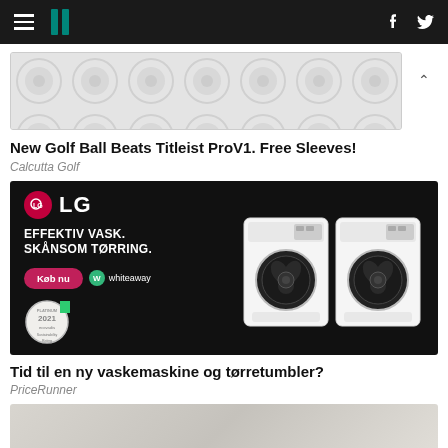HuffPost navigation bar with hamburger menu, logo, Facebook and Twitter icons
[Figure (photo): Golf ball advertisement banner with grey circle pattern background]
New Golf Ball Beats Titleist ProV1. Free Sleeves!
Calcutta Golf
[Figure (photo): LG washing machine advertisement: EFFEKTIV VASK. SKÅNSOM TØRRING. With Køb nu button, whiteaway logo, ecovadis platinum 2021 badge, and two white LG washing machines on dark background]
Tid til en ny vaskemaskine og tørretumbler?
PriceRunner
[Figure (photo): Partially visible advertisement at the bottom of the page with light beige tones]